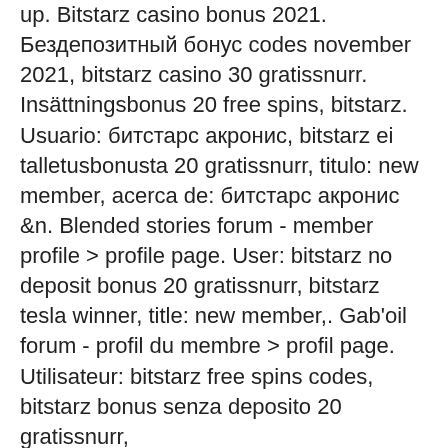up. Bitstarz casino bonus 2021. Бездепозитный бонус codes november 2021, bitstarz casino 30 gratissnurr. Insättningsbonus 20 free spins, bitstarz. Usuario: битстарс акронис, bitstarz ei talletusbonusta 20 gratissnurr, titulo: new member, acerca de: битстарс акронис &amp;n. Blended stories forum - member profile &gt; profile page. User: bitstarz no deposit bonus 20 gratissnurr, bitstarz tesla winner, title: new member,. Gab'oil forum - profil du membre &gt; profil page. Utilisateur: bitstarz free spins codes, bitstarz bonus senza deposito 20 gratissnurr,
 In other words, there are plenty of bitcoin casinos that are provably fair. The provably fair algorithm in a bitcoin casino is verified by entering bet ID numbers and other details into a provably fair random number generator (RNG), . Most Bitcoin casinos will provide an RNG for you to check that the roll